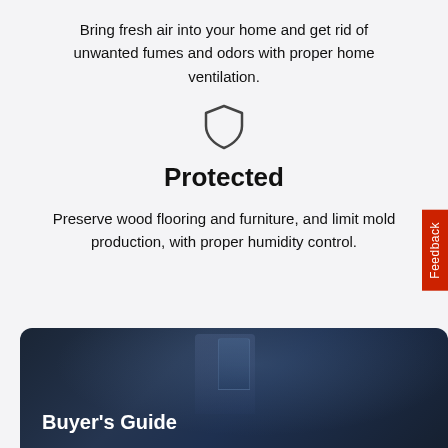Bring fresh air into your home and get rid of unwanted fumes and odors with proper home ventilation.
[Figure (illustration): Shield icon outline]
Protected
Preserve wood flooring and furniture, and limit mold production, with proper humidity control.
[Figure (photo): Dark blue background photo with Buyer's Guide text overlay]
Buyer's Guide